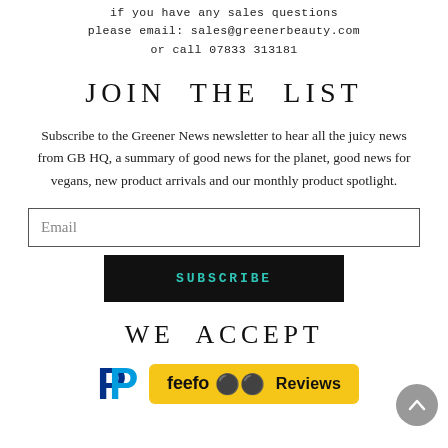If you have any sales questions please email: sales@greenerbeauty.com or call 07833 313181
JOIN THE LIST
Subscribe to the Greener News newsletter to hear all the juicy news from GB HQ, a summary of good news for the planet, good news for vegans, new product arrivals and our monthly product spotlight.
Email
SUBSCRIBE
WE ACCEPT
[Figure (logo): PayPal logo (P letter, blue) and Feefo Reviews badge (yellow background with feefo logo and Reviews text)]